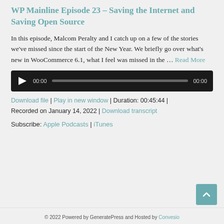WP Mainline Episode 23 – Saving the Internet and Saving Open Source
In this episode, Malcom Peralty and I catch up on a few of the stories we've missed since the start of the New Year. We briefly go over what's new in WooCommerce 6.1, what I feel was missed in the … Read More
[Figure (other): Audio player widget with play button, time display showing 00:00, progress bar, and end time 00:00 on dark background]
Download file | Play in new window | Duration: 00:45:44 | Recorded on January 14, 2022 | Download transcript
Subscribe: Apple Podcasts | iTunes
© 2022 Powered by GeneratePress and Hosted by Convesio